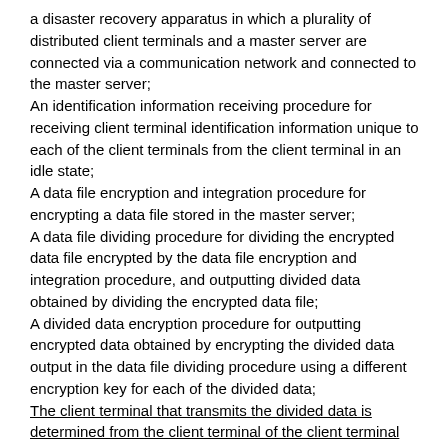a disaster recovery apparatus in which a plurality of distributed client terminals and a master server are connected via a communication network and connected to the master server;
An identification information receiving procedure for receiving client terminal identification information unique to each of the client terminals from the client terminal in an idle state;
A data file encryption and integration procedure for encrypting a data file stored in the master server;
A data file dividing procedure for dividing the encrypted data file encrypted by the data file encryption and integration procedure, and outputting divided data obtained by dividing the encrypted data file;
A divided data encryption procedure for outputting encrypted data obtained by encrypting the divided data output in the data file dividing procedure using a different encryption key for each of the divided data;
The client terminal that transmits the divided data is determined from the client terminal of the client terminal identification information received in the identification information reception procedure, and the encrypted data output in the divided data encryption procedure is determined. Encrypted data transmission procedure to be transmitted to and stored in the client terminal;
The data file encryption and integration is triggered by the input of a time series information transmission command for instructing